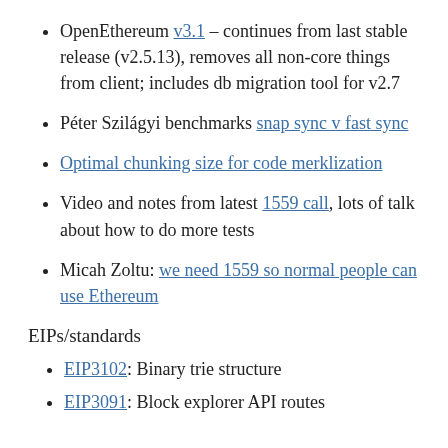OpenEthereum v3.1 – continues from last stable release (v2.5.13), removes all non-core things from client; includes db migration tool for v2.7
Péter Szilágyi benchmarks snap sync v fast sync
Optimal chunking size for code merklization
Video and notes from latest 1559 call, lots of talk about how to do more tests
Micah Zoltu: we need 1559 so normal people can use Ethereum
EIPs/standards
EIP3102: Binary trie structure
EIP3091: Block explorer API routes